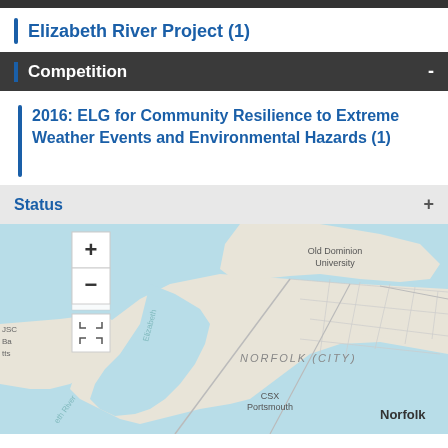Elizabeth River Project (1)
Competition -
2016: ELG for Community Resilience to Extreme Weather Events and Environmental Hazards (1)
Status +
[Figure (map): Interactive map showing Norfolk, Virginia area including Elizabeth River, Old Dominion University, Norfolk (City), CSX Portsmouth, and surrounding waterways. Map controls include zoom in (+), zoom out (-), and fullscreen buttons on the left side.]